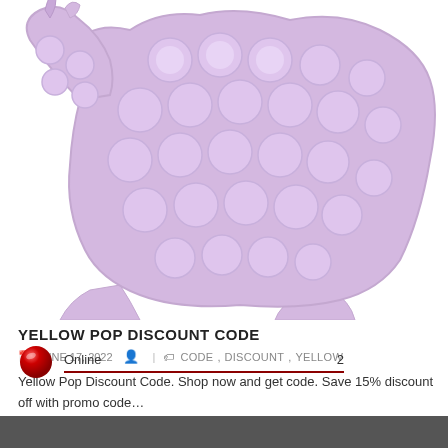[Figure (photo): Purple/lavender silicone pop-it fidget toy in a dinosaur or unicorn shape with bubble circles, partially visible from top of page]
YELLOW POP DISCOUNT CODE
JUNE 17, 2022  |  CODE, DISCOUNT, YELLOW
Yellow Pop Discount Code. Shop now and get code. Save 15% discount off with promo code…
Online  2